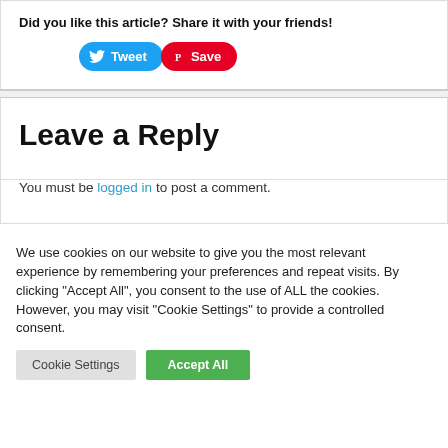Did you like this article? Share it with your friends!
[Figure (other): Tweet and Save (Pinterest) social sharing buttons]
Leave a Reply
You must be logged in to post a comment.
We use cookies on our website to give you the most relevant experience by remembering your preferences and repeat visits. By clicking “Accept All”, you consent to the use of ALL the cookies. However, you may visit "Cookie Settings" to provide a controlled consent.
Cookie Settings | Accept All